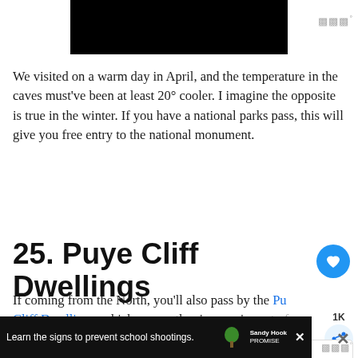[Figure (photo): Black rectangular image at top of page (partially visible), with a weather/temperature icon in the top right corner]
We visited on a warm day in April, and the temperature in the caves must've been at least 20° cooler. I imagine the opposite is true in the winter. If you have a national parks pass, this will give you free entry to the national monument.
25. Puye Cliff Dwellings
If coming from the North, you'll also pass by the Puye Cliff Dwellings, which are another impressive set of cave dwellings and structures to explore. Be sure to check their website because like many things on Native lands, these are closed due to COVID at the moment
[Figure (screenshot): Advertisement banner: 'Learn the signs to prevent school shootings.' with Sandy Hook Promise logo and tree icon. Close button visible.]